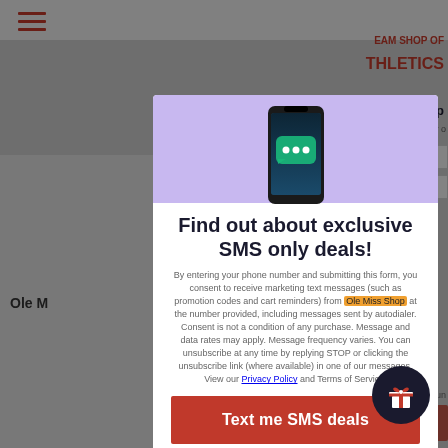[Figure (screenshot): Background webpage showing Ole Miss Athletics Team Shop with hamburger menu, navigation bar, and partially visible content behind a modal overlay]
Find out about exclusive SMS only deals!
By entering your phone number and submitting this form, you consent to receive marketing text messages (such as promotion codes and cart reminders) from Ole Miss Shop at the number provided, including messages sent by autodialer. Consent is not a condition of any purchase. Message and data rates may apply. Message frequency varies. You can unsubscribe at any time by replying STOP or clicking the unsubscribe link (where available) in one of our messages. View our Privacy Policy and Terms of Service.
Text me SMS deals